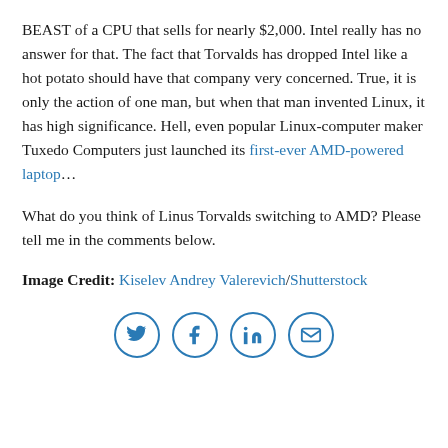BEAST of a CPU that sells for nearly $2,000. Intel really has no answer for that. The fact that Torvalds has dropped Intel like a hot potato should have that company very concerned. True, it is only the action of one man, but when that man invented Linux, it has high significance. Hell, even popular Linux-computer maker Tuxedo Computers just launched its first-ever AMD-powered laptop...
What do you think of Linus Torvalds switching to AMD? Please tell me in the comments below.
Image Credit: Kiselev Andrey Valerevich/Shutterstock
[Figure (other): Row of four social sharing icon circles: Twitter bird, Facebook f, LinkedIn in, Email envelope]